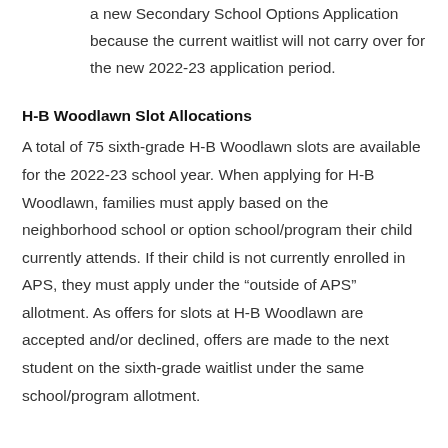a new Secondary School Options Application because the current waitlist will not carry over for the new 2022-23 application period.
H-B Woodlawn Slot Allocations
A total of 75 sixth-grade H-B Woodlawn slots are available for the 2022-23 school year. When applying for H-B Woodlawn, families must apply based on the neighborhood school or option school/program their child currently attends. If their child is not currently enrolled in APS, they must apply under the “outside of APS” allotment. As offers for slots at H-B Woodlawn are accepted and/or declined, offers are made to the next student on the sixth-grade waitlist under the same school/program allotment.